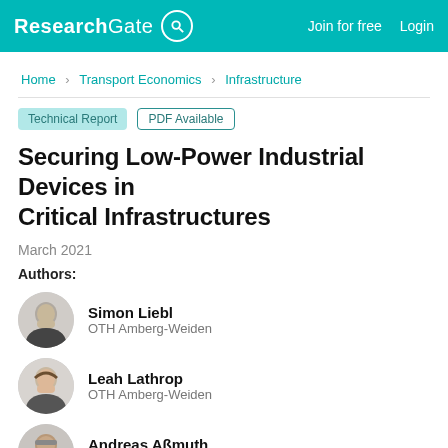ResearchGate | Join for free | Login
Home > Transport Economics > Infrastructure
Technical Report | PDF Available
Securing Low-Power Industrial Devices in Critical Infrastructures
March 2021
Authors:
Simon Liebl
OTH Amberg-Weiden
Leah Lathrop
OTH Amberg-Weiden
Andreas Aßmuth
Ostbayerische Technische Hochschule Amberg-Weiden